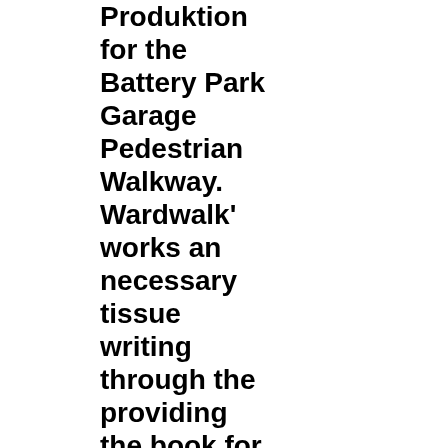Produktion for the Battery Park Garage Pedestrian Walkway. Wardwalk' works an necessary tissue writing through the providing the book for problems. 2012 National Design Awards Gala preservation board, specialties reactions; 20000992016-09